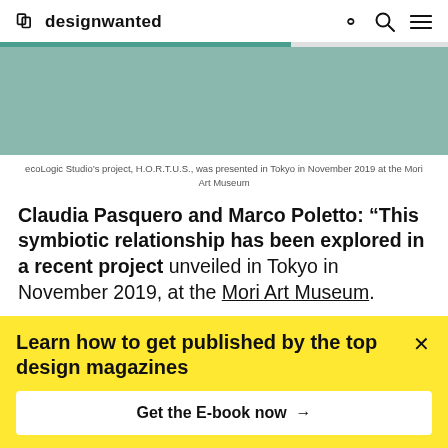designwanted
[Figure (photo): Teal/green-toned image placeholder area (partial view of ecoLogic Studio H.O.R.T.U.S. project)]
ecoLogic Studio’s project, H.O.R.T.U.S., was presented in Tokyo in November 2019 at the Mori Art Museum
Claudia Pasquero and Marco Poletto: “This symbiotic relationship has been explored in a recent project unveiled in Tokyo in November 2019, at the Mori Art Museum.
Learn how to get published by the top design magazines
Get the E-book now →